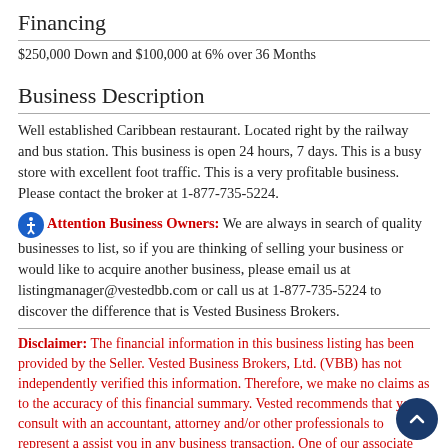Financing
$250,000 Down and $100,000 at 6% over 36 Months
Business Description
Well established Caribbean restaurant. Located right by the railway and bus station. This business is open 24 hours, 7 days. This is a busy store with excellent foot traffic. This is a very profitable business. Please contact the broker at 1-877-735-5224.
Attention Business Owners: We are always in search of quality businesses to list, so if you are thinking of selling your business or would like to acquire another business, please email us at listingmanager@vestedbb.com or call us at 1-877-735-5224 to discover the difference that is Vested Business Brokers.
Disclaimer: The financial information in this business listing has been provided by the Seller. Vested Business Brokers, Ltd. (VBB) has not independently verified this information. Therefore, we make no claims as to the accuracy of this financial summary. Vested recommends that you consult with an accountant, attorney and/or other professionals to represent a assist you in any business transaction. One of our associate brokers will arrange a meeting between you, your